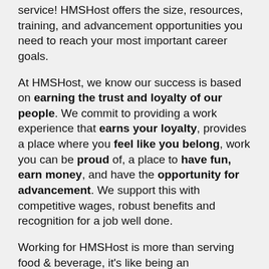service! HMSHost offers the size, resources, training, and advancement opportunities you need to reach your most important career goals.
At HMSHost, we know our success is based on earning the trust and loyalty of our people. We commit to providing a work experience that earns your loyalty, provides a place where you feel like you belong, work you can be proud of, a place to have fun, earn money, and have the opportunity for advancement. We support this with competitive wages, robust benefits and recognition for a job well done.
Working for HMSHost is more than serving food & beverage, it's like being an ambassador for the city you live in – as we put it – helping travelers feel good on the move!